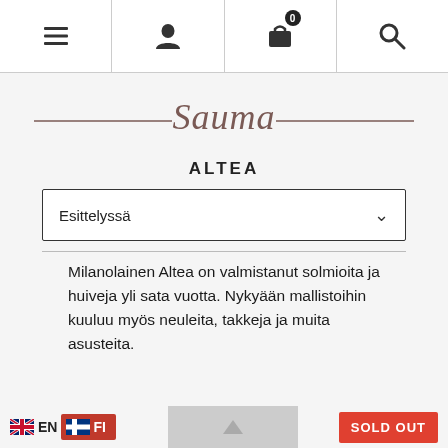Navigation bar with menu, user, cart (0), and search icons
[Figure (logo): Sauma brand logo in cursive script with horizontal lines on each side]
ALTEA
Esittelyssä
Milanolainen Altea on valmistanut solmioita ja huiveja yli sata vuotta. Nykyään mallistoihin kuuluu myös neuleita, takkeja ja muita asusteita.
EN  FI  SOLD OUT